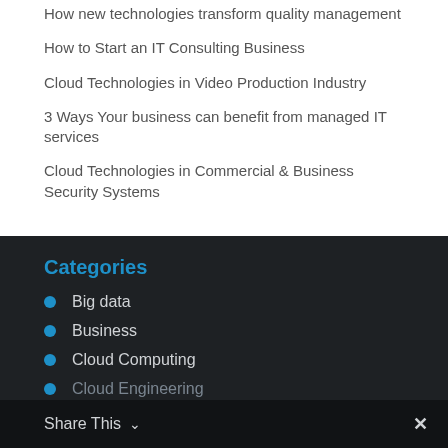How new technologies transform quality management
How to Start an IT Consulting Business
Cloud Technologies in Video Production Industry
3 Ways Your business can benefit from managed IT services
Cloud Technologies in Commercial & Business Security Systems
Categories
Big data
Business
Cloud Computing
Cloud Engineering
Share This